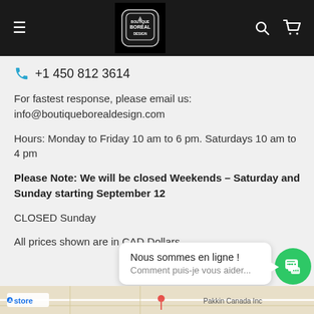Boutique Boreal Design website header with hamburger menu, logo, search and cart icons
+1 450 812 3614
For fastest response, please email us:
info@boutiqueborealdesign.com
Hours: Monday to Friday 10 am to 6 pm. Saturdays 10 am to 4 pm
Please Note: We will be closed Weekends – Saturday and Sunday starting September 12
CLOSED Sunday
All prices shown are in CAD Dollars.
[Figure (screenshot): Chat popup bubble saying 'Nous sommes en ligne ! Comment puis-je vous aider...' with green chat button]
[Figure (map): Bottom map strip showing store location]